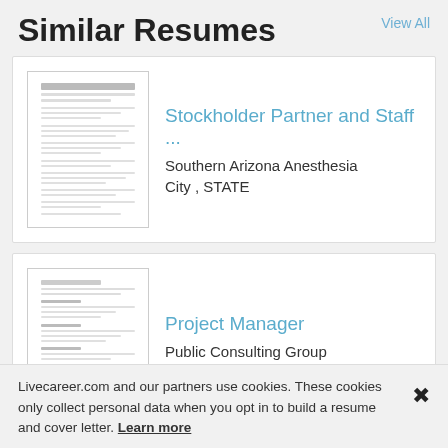Similar Resumes
View All
Stockholder Partner and Staff ... | Southern Arizona Anesthesia | City , STATE
Project Manager | Public Consulting Group | Columbia , TN
Dispatcher Limousine Transpo...
Livecareer.com and our partners use cookies. These cookies only collect personal data when you opt in to build a resume and cover letter. Learn more